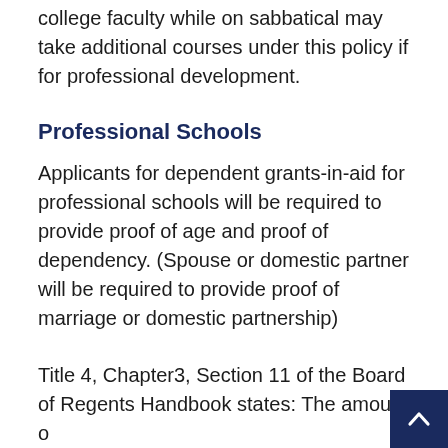college faculty while on sabbatical may take additional courses under this policy if for professional development.
Professional Schools
Applicants for dependent grants-in-aid for professional schools will be required to provide proof of age and proof of dependency. (Spouse or domestic partner will be required to provide proof of marriage or domestic partnership)
Title 4, Chapter3, Section 11 of the Board of Regents Handbook states: The amount o